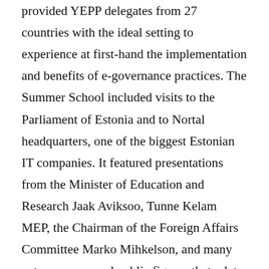provided YEPP delegates from 27 countries with the ideal setting to experience at first-hand the implementation and benefits of e-governance practices. The Summer School included visits to the Parliament of Estonia and to Nortal headquarters, one of the biggest Estonian IT companies. It featured presentations from the Minister of Education and Research Jaak Aviksoo, Tunne Kelam MEP, the Chairman of the Foreign Affairs Committee Marko Mihkelson, and many entrepreneurs and public figures that relate to the digital agenda in Estonia and in Europe. The event also featured YEPP's first transatlantic roundtable, discussing the NSA and the Free Trade Agreement negotations between the EU and the US. The round-table was the first of a series of events that the YEPP "Transatlantic Working Group" will be organising